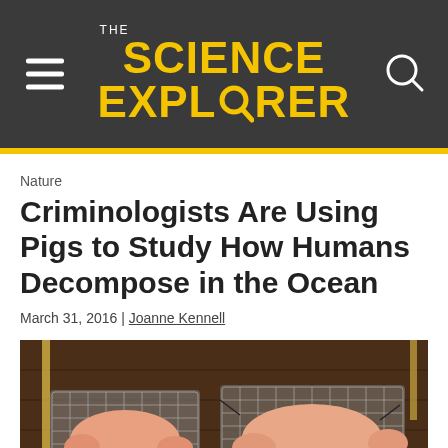THE SCIENCE EXPLORER
Nature
Criminologists Are Using Pigs to Study How Humans Decompose in the Ocean
March 31, 2016 | Joanne Kennell
[Figure (photo): Two pigs secured in wire mesh cages/frames placed on a wooden surface, part of a scientific study on decomposition]